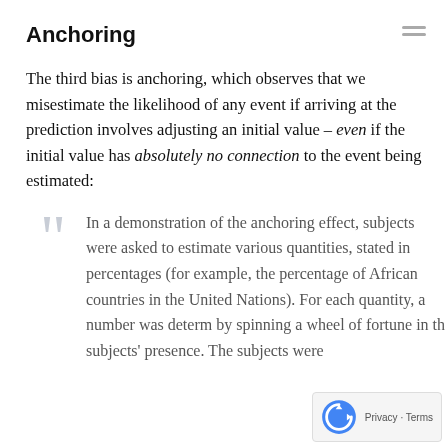Anchoring
The third bias is anchoring, which observes that we misestimate the likelihood of any event if arriving at the prediction involves adjusting an initial value – even if the initial value has absolutely no connection to the event being estimated:
In a demonstration of the anchoring effect, subjects were asked to estimate various quantities, stated in percentages (for example, the percentage of African countries in the United Nations). For each quantity, a number was determined by spinning a wheel of fortune in the subjects' presence. The subjects were